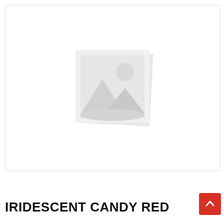[Figure (illustration): Placeholder image icon showing a generic landscape/photo placeholder with mountain and sun silhouette on a light gray background]
IRIDESCENT CANDY RED